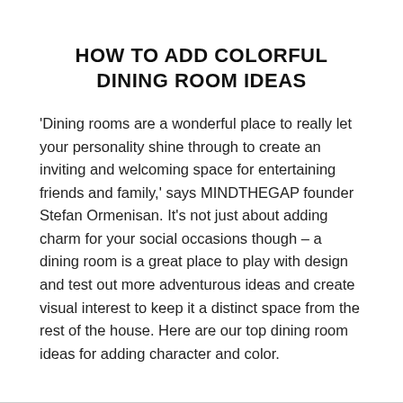HOW TO ADD COLORFUL DINING ROOM IDEAS
'Dining rooms are a wonderful place to really let your personality shine through to create an inviting and welcoming space for entertaining friends and family,' says MINDTHEGAP founder Stefan Ormenisan. It's not just about adding charm for your social occasions though – a dining room is a great place to play with design and test out more adventurous ideas and create visual interest to keep it a distinct space from the rest of the house. Here are our top dining room ideas for adding character and color.